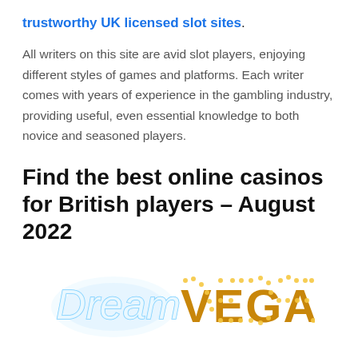trustworthy UK licensed slot sites.
All writers on this site are avid slot players, enjoying different styles of games and platforms. Each writer comes with years of experience in the gambling industry, providing useful, even essential knowledge to both novice and seasoned players.
Find the best online casinos for British players – August 2022
[Figure (logo): Dream Vegas casino logo with cursive 'Dream' in glowing blue/white text and 'VEGAS' in large illuminated marquee-style gold letters]
100% up to £300 + 50 Bonus Spins